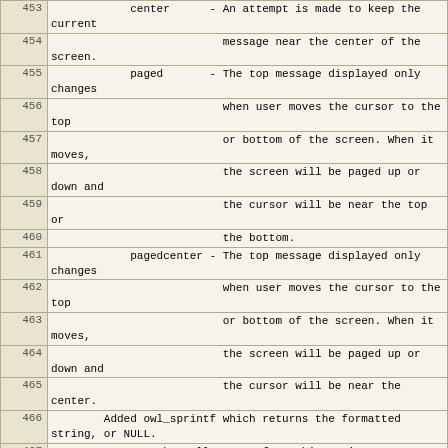| Line | Content |
| --- | --- |
| 453 |             center      - An attempt is made to keep the current |
| 454 |                           message near the center of the screen. |
| 455 |             paged       - The top message displayed only changes |
| 456 |                           when user moves the cursor to the top |
| 457 |                           or bottom of the screen. When it moves, |
| 458 |                           the screen will be paged up or down and |
| 459 |                           the cursor will be near the top or |
| 460 |                           the bottom. |
| 461 |             pagedcenter - The top message displayed only changes |
| 462 |                           when user moves the cursor to the top |
| 463 |                           or bottom of the screen. When it moves, |
| 464 |                           the screen will be paged up or down and |
| 465 |                           the cursor will be near the center. |
| 466 |         Added owl_sprintf which returns the formatted string, or NULL. |
| 467 |                 The caller must free this string. |
| 468 |                 This will allocate enough memory and thus |
| 469 |                 avoid potential some buffer overrun situations. |
| 470 |         Simple implementation of 'zwrite -m' (doesn't yet log an outgoing |